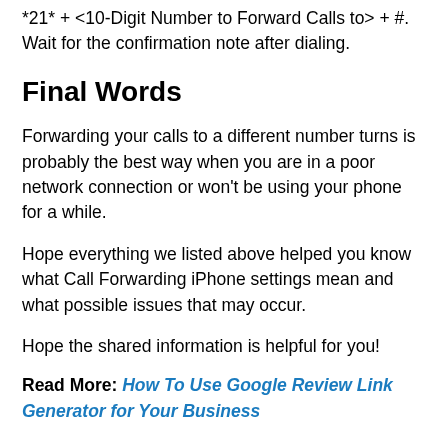*21* + <10-Digit Number to Forward Calls to> + #. Wait for the confirmation note after dialing.
Final Words
Forwarding your calls to a different number turns is probably the best way when you are in a poor network connection or won't be using your phone for a while.
Hope everything we listed above helped you know what Call Forwarding iPhone settings mean and what possible issues that may occur.
Hope the shared information is helpful for you!
Read More: How To Use Google Review Link Generator for Your Business